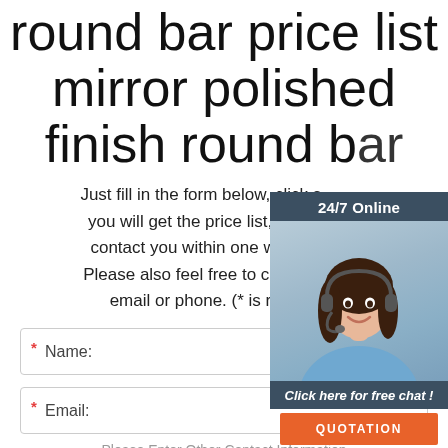round bar price list mirror polished finish round bar
Just fill in the form below, click submit, you will get the price list, and we will contact you within one working day. Please also feel free to contact us via email or phone. (* is required)
[Figure (photo): Chat widget overlay with '24/7 Online' header, photo of woman with headset smiling, 'Click here for free chat!' CTA text, and orange QUOTATION button]
* Name:
* Email:
Please Enter Other Contact Information